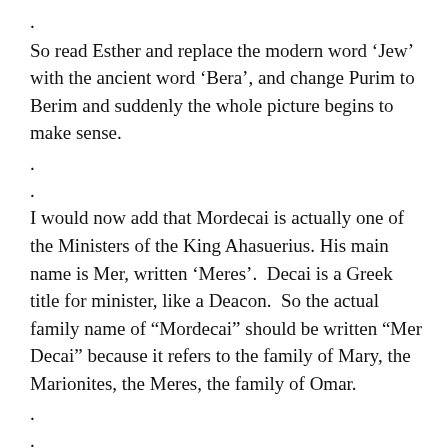.
So read Esther and replace the modern word ‘Jew’ with the ancient word ‘Bera’, and change Purim to Berim and suddenly the whole picture begins to make sense.
.
.
I would now add that Mordecai is actually one of the Ministers of the King Ahasuerius. His main name is Mer, written ‘Meres’.  Decai is a Greek title for minister, like a Deacon.  So the actual family name of “Mordecai” should be written “Mer Decai” because it refers to the family of Mary, the Marionites, the Meres, the family of Omar.
.
.
The very first ‘mosque’ to be demolished in Damascus by the Israelis in this century was the oldest mosque of Omar, a legendary building said to house the head of John the Baptist in one of the columns.  There was also originally a curse written on the building that whoever